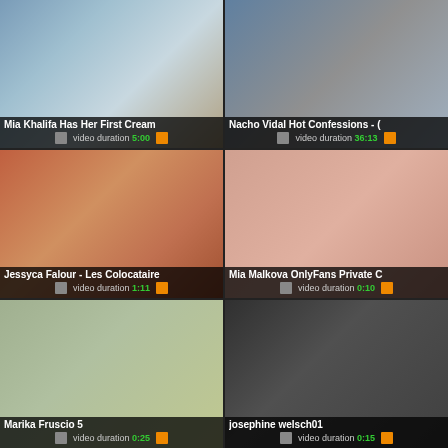[Figure (screenshot): Video thumbnail grid showing 6 video thumbnails in a 2x3 layout. Each thumbnail has a title and video duration overlay.]
Mia Khalifa Has Her First Cream — video duration 5:00
Nacho Vidal Hot Confessions - ( — video duration 36:13
Jessyca Falour - Les Colocataire — video duration 1:11
Mia Malkova OnlyFans Private C — video duration 0:10
Marika Fruscio 5 — video duration 0:25
josephine welsch01 — video duration 0:15